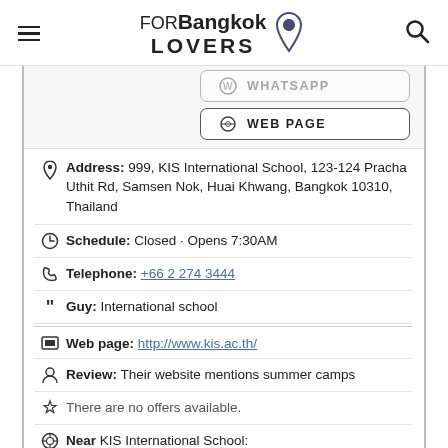FOR Bangkok LOVERS
WEB PAGE
Address: 999, KIS International School, 123-124 Pracha Uthit Rd, Samsen Nok, Huai Khwang, Bangkok 10310, Thailand
Schedule: Closed · Opens 7:30AM
Telephone: +66 2 274 3444
Guy: International school
Web page: http://www.kis.ac.th/
Review: Their website mentions summer camps
There are no offers available.
Near KIS International School: